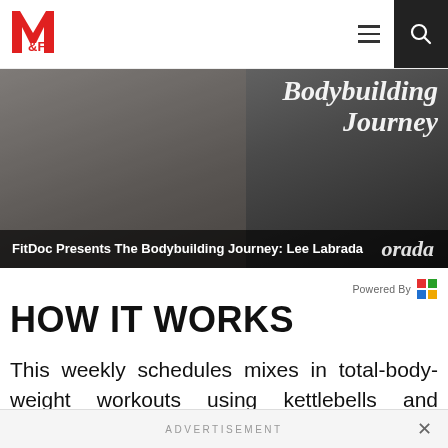M&F (Muscle & Fitness) navigation bar with logo, hamburger menu, and search button
[Figure (screenshot): Video thumbnail for 'FitDoc Presents The Bodybuilding Journey: Lee Labrada' with dark overlay and text]
FitDoc Presents The Bodybuilding Journey: Lee Labrada
Powered By
HOW IT WORKS
This weekly schedules mixes in total-body-weight workouts using kettlebells and dumbbells along with fat-burning cardio intervals and core and mobility training. You'll be doing something every day, for just seven days. (After that, take a well-deserved rest day.)
ADVERTISEMENT